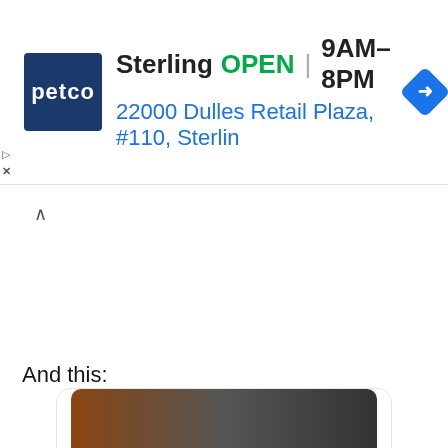[Figure (screenshot): Petco ad banner showing Sterling store: OPEN 9AM-8PM, 22000 Dulles Retail Plaza, #110, Sterlin, with navigation arrow icon]
[Figure (screenshot): Twitter/X post card showing partial image (dark photo), timestamp 11:41 AM · Jul 27, 2016, like count 3.4K, Reply and Copy link actions, and Read 27 replies button]
And this: